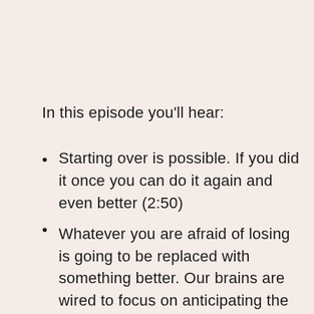In this episode you'll hear:
Starting over is possible. If you did it once you can do it again and even better (2:50)
Whatever you are afraid of losing is going to be replaced with something better. Our brains are wired to focus on anticipating the scary stuff instead of the best...